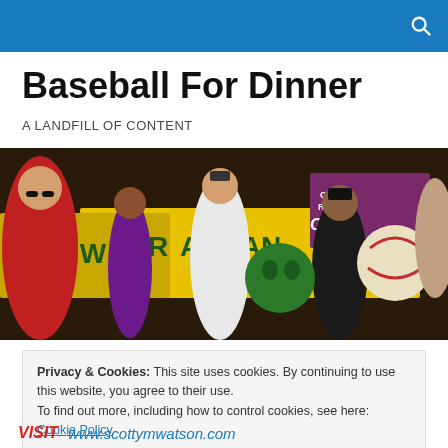Baseball For Dinner
A LANDFILL OF CONTENT
[Figure (photo): Crowd scene at a baseball-themed event with people holding signs including 'RESTAURANT', 'HO W', 'GRAND RAPIDS Chicks' and a large baseball mascot character visible]
Privacy & Cookies: This site uses cookies. By continuing to use this website, you agree to their use.
To find out more, including how to control cookies, see here: Cookie Policy
VISIT  www.scottymwatson.com